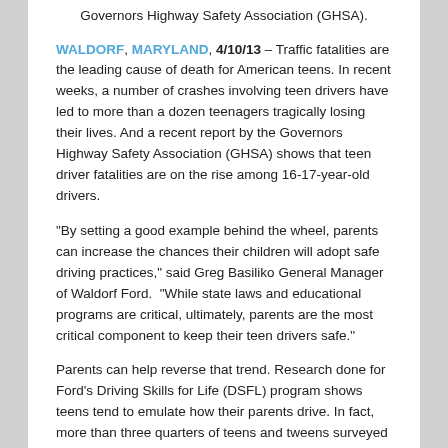Governors Highway Safety Association (GHSA).
WALDORF, MARYLAND, 4/10/13 – Traffic fatalities are the leading cause of death for American teens. In recent weeks, a number of crashes involving teen drivers have led to more than a dozen teenagers tragically losing their lives. And a recent report by the Governors Highway Safety Association (GHSA) shows that teen driver fatalities are on the rise among 16-17-year-old drivers.
“By setting a good example behind the wheel, parents can increase the chances their children will adopt safe driving practices,” said Greg Basiliko General Manager of Waldorf Ford.  “While state laws and educational programs are critical, ultimately, parents are the most critical component to keep their teen drivers safe.”
Parents can help reverse that trend. Research done for Ford’s Driving Skills for Life (DSFL) program shows teens tend to emulate how their parents drive. In fact, more than three quarters of teens and tweens surveyed say they rely